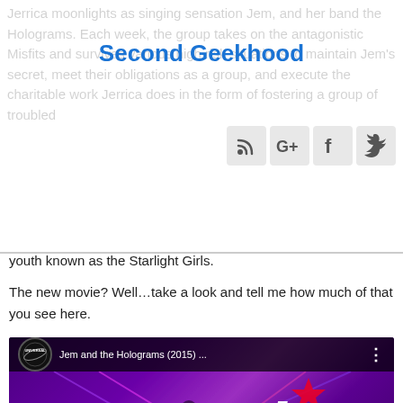Jerrica moonlights as singing sensation Jem, and her band the Holograms. Each week, the group takes on the antagonistic Misfits and survives various high risk situations to maintain Jem's secret, meet their obligations as a group, and execute the charitable work Jerrica does in the form of fostering a group of troubled youth known as the Starlight Girls.
Second Geekhood
[Figure (other): Social media icons: RSS feed, Google+, Facebook, Twitter]
youth known as the Starlight Girls.

The new movie? Well…take a look and tell me how much of that you see here.
[Figure (screenshot): YouTube video embed: Jem and the Holograms (2015) Global Trailer with Universal logo, purple concert background with performers, red YouTube play button, and Jem and the Holograms logo in white cursive with a red star.]